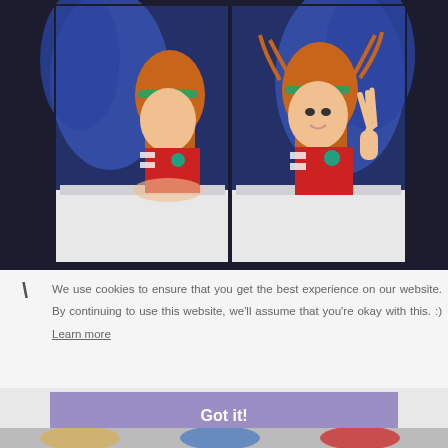[Figure (photo): Two side-by-side photos of a cosplay model with orange hair, green headband, red costume with white stripes, sitting at a table. Left photo shows her signing autographs, right photo shows her making a peace sign.]
We use cookies to ensure that you get the best experience on our website. By continuing to use this website, we'll assume that you're okay with this. :) Learn more
Got it!
[Figure (photo): Partial bottom strip showing cosplay characters.]